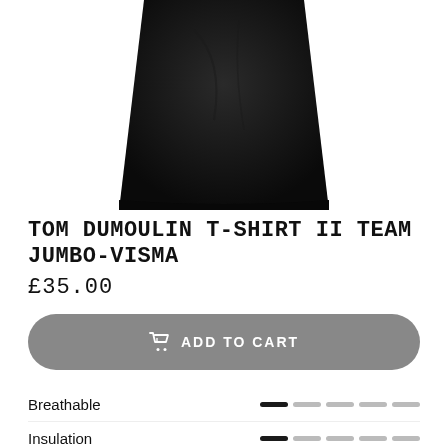[Figure (photo): Black t-shirt product photo, cropped showing the lower body/torso area of a black t-shirt against white background]
TOM DUMOULIN T-SHIRT II TEAM JUMBO-VISMA
£35.00
ADD TO CART
Breathable — 1 of 5 bar rating
Insulation — 1 of 5 bar rating
DEVELOPED WITH TOM DUMOULIN